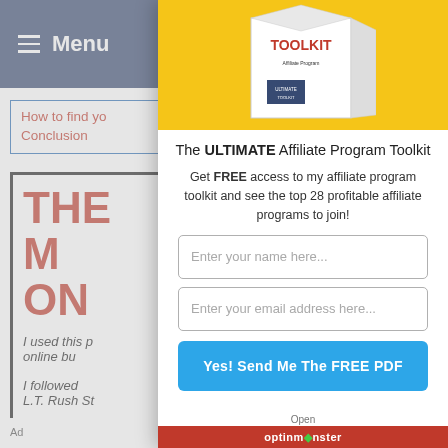[Figure (screenshot): Website navigation bar with hamburger menu icon and 'Menu' text on dark blue background]
How to find yo...
Conclusion
THE M ON
I used this p... online bu...
I followed... L.T. Rush St...
Ad
[Figure (photo): Product box for 'The ULTIMATE Affiliate Program Toolkit' on yellow background]
The ULTIMATE Affiliate Program Toolkit
Get FREE access to my affiliate program toolkit and see the top 28 profitable affiliate programs to join!
[Figure (screenshot): Input field: Enter your name here...]
[Figure (screenshot): Input field: Enter your email address here...]
Yes! Send Me The FREE PDF
Open optinmonster